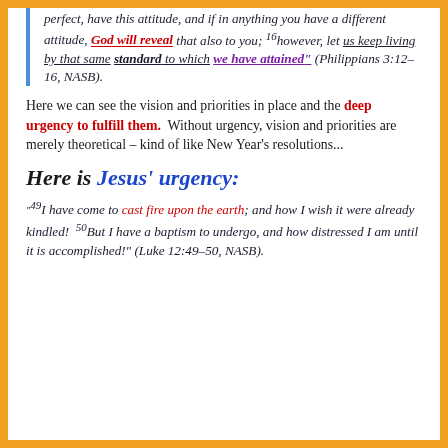perfect, have this attitude, and if in anything you have a different attitude, God will reveal that also to you; 16however, let us keep living by that same standard to which we have attained" (Philippians 3:12–16, NASB).
Here we can see the vision and priorities in place and the deep urgency to fulfill them.  Without urgency, vision and priorities are merely theoretical – kind of like New Year's resolutions...
Here is Jesus' urgency:
“49I have come to cast fire upon the earth; and how I wish it were already kindled!  50But I have a baptism to undergo, and how distressed I am until it is accomplished!" (Luke 12:49–50, NASB).